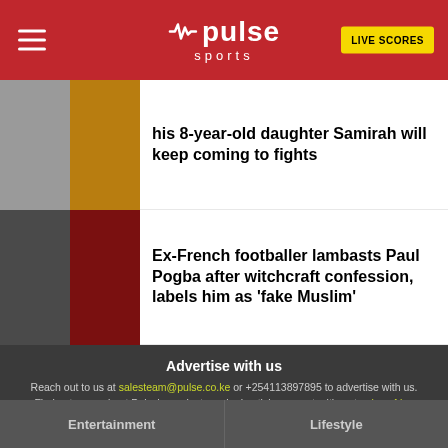Pulse Sports — LIVE SCORES
his 8-year-old daughter Samirah will keep coming to fights
Ex-French footballer lambasts Paul Pogba after witchcraft confession, labels him as 'fake Muslim'
Advertise with us
Reach out to us at salesteam@pulse.co.ke or +254113897895 to advertise with us. Find out more about Pulse's products and advertising opportunities at pulse.africa
Entertainment
Lifestyle